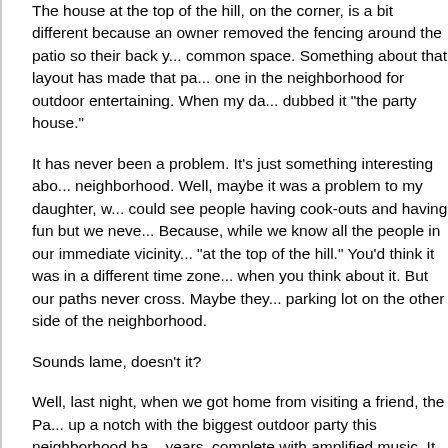The house at the top of the hill, on the corner, is a bit different because an owner removed the fencing around the patio so their back yard opens to common space. Something about that layout has made that particular house the one in the neighborhood for outdoor entertaining. When my daughter was little, dubbed it "the party house."
It has never been a problem. It's just something interesting about the neighborhood. Well, maybe it was a problem to my daughter, who could see people having cook-outs and having fun but we never went. Because, while we know all the people in our immediate vicinity, those "at the top of the hill." You'd think it was in a different time zone when you think about it. But our paths never cross. Maybe they use the parking lot on the other side of the neighborhood.
Sounds lame, doesn't it?
Well, last night, when we got home from visiting a friend, the Party House kicked up a notch with the biggest outdoor party this neighborhood has seen in years, complete with amplified music. It was loud. It was loud enough to hear it when we went inside the house, but not painfully so. We have windows that muffle a lot of outdoor sound, plus the intermittent blowing of our air filter.